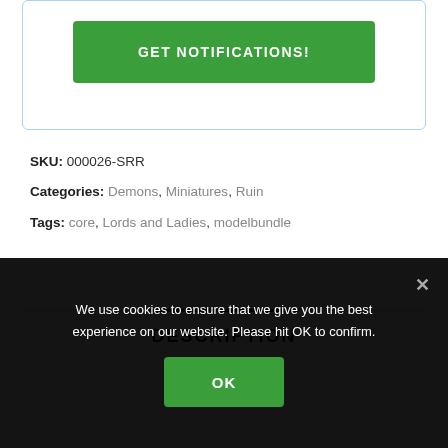[Figure (other): Green button labeled GET NOTIFICATIONS! inside a card with light blue border]
SKU: 000026-SRR
Categories: Demons, Miniatures, Ruin
Tags: core, Lords and Ladies, modelbundle
DESCRIPTION
We use cookies to ensure that we give you the best experience on our website. Please hit OK to confirm.